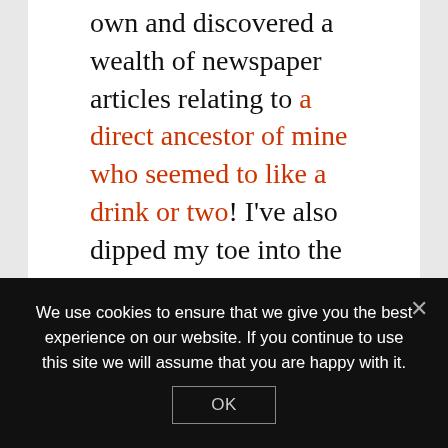own and discovered a wealth of newspaper articles relating to a direct ancestor of mine who seemed to like a drink or two! I've also dipped my toe into the world of DNA ancestry, discovering distant cousins and validating my paper trail research.
So that was 2017!
I'm looking forward to seeing what 2018 brings. Already planned are a trip to
We use cookies to ensure that we give you the best experience on our website. If you continue to use this site we will assume that you are happy with it.